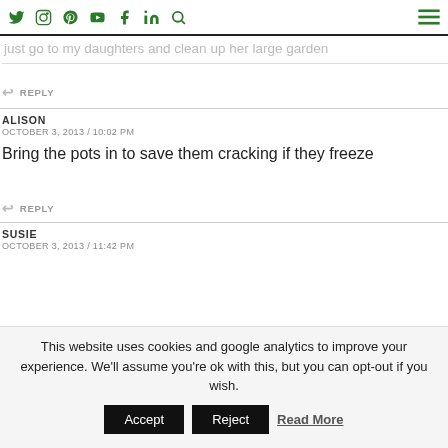Social media icons: Twitter, Instagram, Pinterest, YouTube, Facebook, LinkedIn, Search, Menu
just go to my daughters and clean up her large garden
REPLY
ALISON
OCTOBER 3, 2013 / 10:02 PM
Bring the pots in to save them cracking if they freeze
REPLY
SUSIE
OCTOBER 3, 2013 / 11:42 PM
This website uses cookies and google analytics to improve your experience. We'll assume you're ok with this, but you can opt-out if you wish.
Accept  Reject  Read More